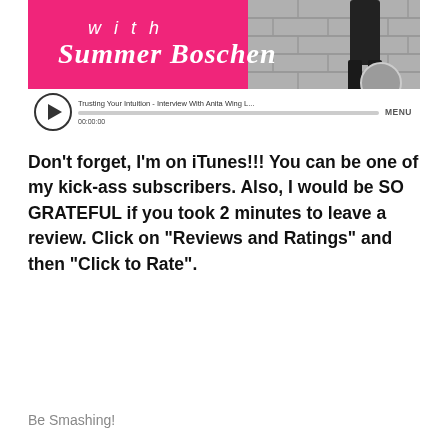[Figure (screenshot): Audio player widget showing a podcast episode titled 'Trusting Your Intuition - Interview With Anita Wing L...' with a pink and brick background, play button, progress bar at 00:00:00, and MENU button.]
Don’t forget, I’m on iTunes!!! You can be one of my kick-ass subscribers. Also, I would be SO GRATEFUL if you took 2 minutes to leave a review. Click on “Reviews and Ratings” and then “Click to Rate”.
Be Smashing!